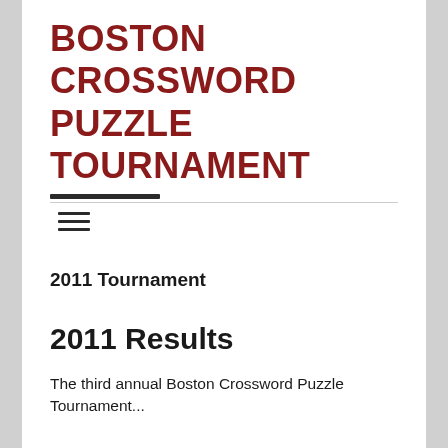BOSTON CROSSWORD PUZZLE TOURNAMENT
2011 Tournament
2011 Results
The third annual Boston Crossword Puzzle Tournament...